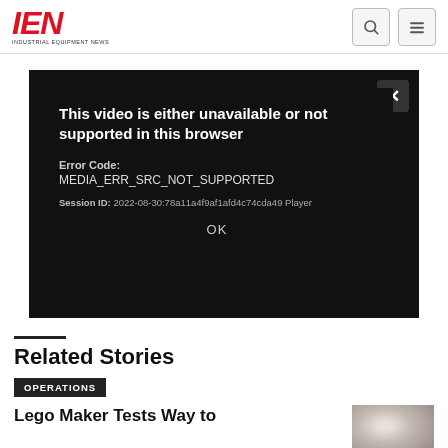IEN — Industrial Equipment News
[Figure (screenshot): Video player error dialog on dark background showing: 'This video is either unavailable or not supported in this browser. Error Code: MEDIA_ERR_SRC_NOT_SUPPORTED. Session ID: 2022-08-30:78a11a4f9af1afd4c74cda49 Player'. An X close button is in the top-right corner. An OK button is at the bottom center. A large faded X watermark appears in the background.]
Related Stories
OPERATIONS
Lego Maker Tests Way to